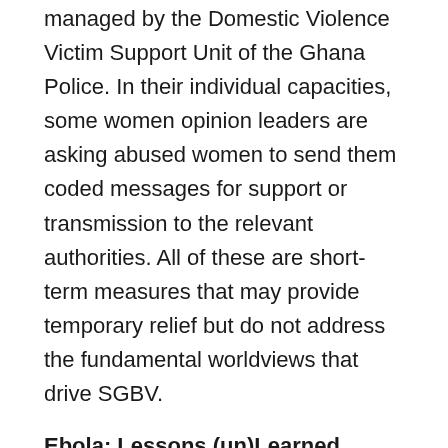managed by the Domestic Violence Victim Support Unit of the Ghana Police. In their individual capacities, some women opinion leaders are asking abused women to send them coded messages for support or transmission to the relevant authorities. All of these are short-term measures that may provide temporary relief but do not address the fundamental worldviews that drive SGBV.
Ebola: Lessons (un)Learned
Africa has been here before. During the Ebola crisis in 2015, outbreaks of varied gendered violence accompanied the virus's spread across East and West Africa. Experts have documented correlations between Ebola and elevated domestic violence rates. Scholars